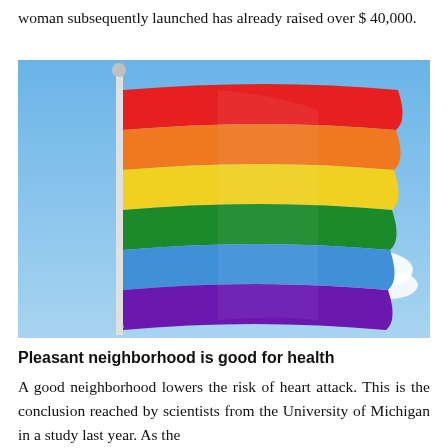woman subsequently launched has already raised over $ 40,000.
[Figure (photo): A rainbow pride flag flying on a white pole against a blue sky with white clouds.]
Pleasant neighborhood is good for health
A good neighborhood lowers the risk of heart attack. This is the conclusion reached by scientists from the University of Michigan in a study last year. As the